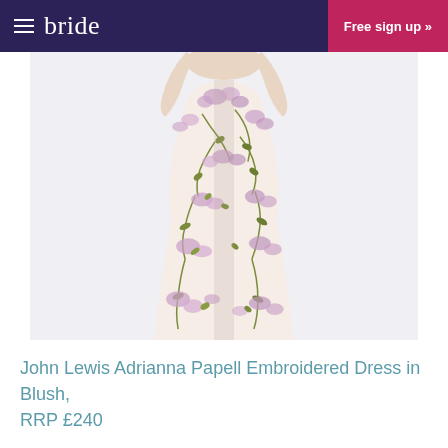bride | Free sign up »
[Figure (photo): Full-length floral embroidered dress in blush/cream with purple and green floral pattern, worn by a model showing torso and skirt portion]
John Lewis Adrianna Papell Embroidered Dress in Blush, RRP £240